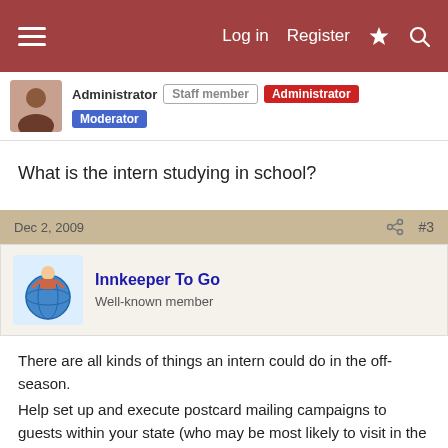Log in  Register
Administrator  Staff member  Administrator  Moderator
What is the intern studying in school?
Dec 2, 2009  #3
Innkeeper To Go
Well-known member
There are all kinds of things an intern could do in the off-season.
Help set up and execute postcard mailing campaigns to guests within your state (who may be most likely to visit in the offseason)
Help update and improve guest welcome books for the rooms.
File, file, file all of those piles of paperwork that are just impossible to get to.